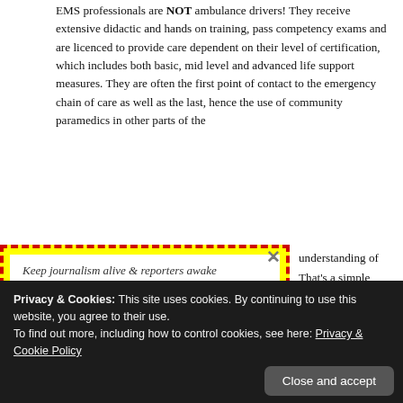EMS professionals are NOT ambulance drivers! They receive extensive didactic and hands on training, pass competency exams and are licenced to provide care dependent on their level of certification, which includes both basic, mid level and advanced life support measures. They are often the first point of contact to the emergency chain of care as well as the last, hence the use of community paramedics in other parts of the
[Figure (infographic): Popup advertisement with yellow dashed red border background. Contains white card with text 'Keep journalism alive & reporters awake' and bold italic 'Buy a cup of coffee for the CNS team' with an illustration of a blue coffee cup with steam and red dots.]
understanding of That's a simple operate a safe, his islands EMS ed restraints. rces should be f it citizens and
Privacy & Cookies: This site uses cookies. By continuing to use this website, you agree to their use. To find out more, including how to control cookies, see here: Privacy & Cookie Policy
Close and accept